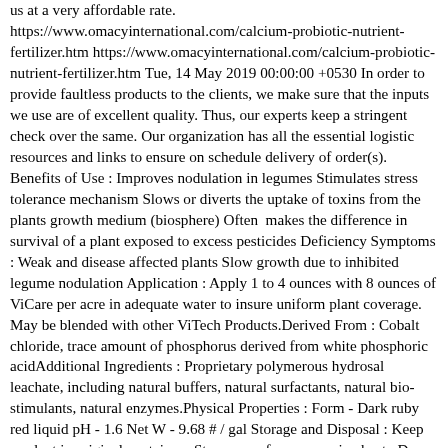us at a very affordable rate. https://www.omacyinternational.com/calcium-probiotic-nutrient-fertilizer.htm https://www.omacyinternational.com/calcium-probiotic-nutrient-fertilizer.htm Tue, 14 May 2019 00:00:00 +0530 In order to provide faultless products to the clients, we make sure that the inputs we use are of excellent quality. Thus, our experts keep a stringent check over the same. Our organization has all the essential logistic resources and links to ensure on schedule delivery of order(s). &nbsp; Benefits of Use : Improves nodulation in legumes Stimulates stress tolerance mechanism Slows or diverts the uptake of toxins from the plants growth medium (biosphere) Often&nbsp; makes the difference in survival of a plant exposed to excess pesticides Deficiency Symptoms : Weak and disease affected plants Slow growth due to inhibited legume nodulation Application : Apply 1 to 4 ounces with 8 ounces of ViCare per acre in adequate water to insure uniform plant coverage.&nbsp; May be blended with other ViTech Products.Derived From : Cobalt chloride, trace amount of phosphorus derived from white phosphoric acidAdditional Ingredients : Proprietary polymerous hydrosal leachate, including natural buffers, natural surfactants, natural bio-stimulants, natural enzymes.Physical Properties : Form - Dark ruby red liquid pH - 1.6 Net W - 9.68 # / gal Storage and Disposal : Keep product in original container.&nbsp; Store away from excessive heat.&nbsp; Do not transfer into food or drink containers.&nbsp; Triple rinse container when empty for recycling. &nbsp; Dispose of remaining product in accordance with local and